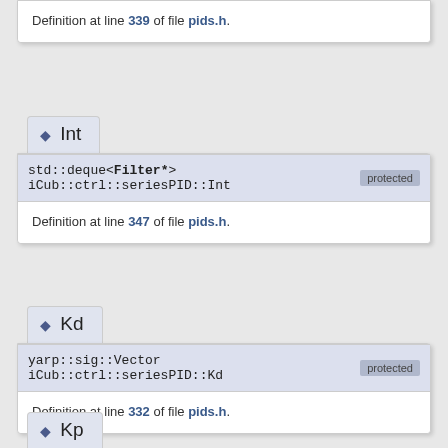Definition at line 339 of file pids.h.
◆ Int
std::deque<Filter*> iCub::ctrl::seriesPID::Int [protected]
Definition at line 347 of file pids.h.
◆ Kd
yarp::sig::Vector iCub::ctrl::seriesPID::Kd [protected]
Definition at line 332 of file pids.h.
◆ Kp